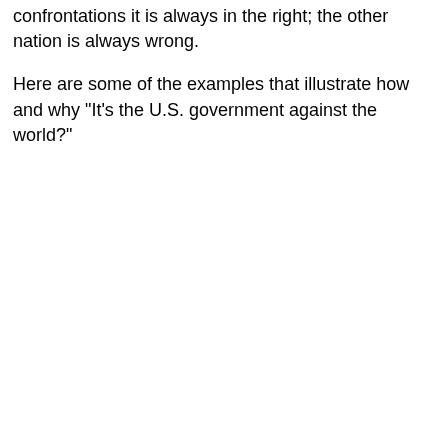confrontations it is always in the right; the other nation is always wrong.
Here are some of the examples that illustrate how and why "It's the U.S. government against the world?"